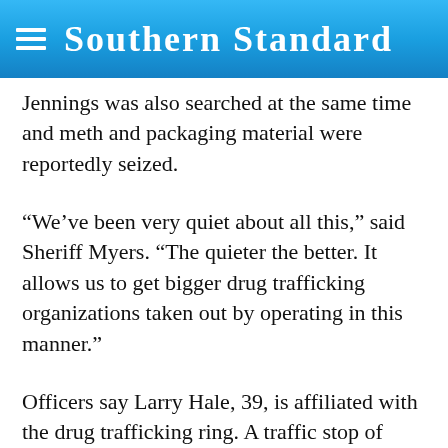Southern Standard
Jennings was also searched at the same time and meth and packaging material were reportedly seized.
“We’ve been very quiet about all this,” said Sheriff Myers. “The quieter the better. It allows us to get bigger drug trafficking organizations taken out by operating in this manner.”
Officers say Larry Hale, 39, is affiliated with the drug trafficking ring. A traffic stop of Hale produced 50 grams of meth and marijuana, according to law enforcement, and resulted in a search warrant for his home in Centertown